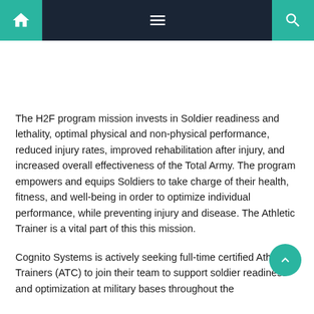Navigation bar with home, menu, and search icons
The H2F program mission invests in Soldier readiness and lethality, optimal physical and non-physical performance, reduced injury rates, improved rehabilitation after injury, and increased overall effectiveness of the Total Army. The program empowers and equips Soldiers to take charge of their health, fitness, and well-being in order to optimize individual performance, while preventing injury and disease. The Athletic Trainer is a vital part of this this mission.
Cognito Systems is actively seeking full-time certified Athletic Trainers (ATC) to join their team to support soldier readiness and optimization at military bases throughout the